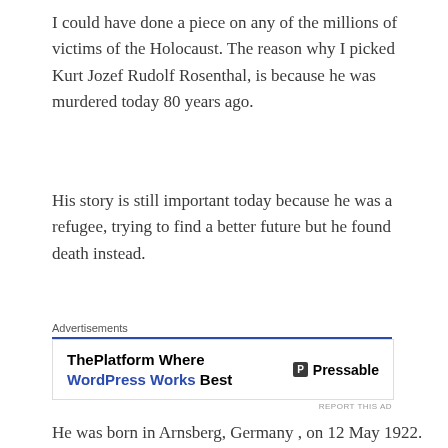I could have done a piece on any of the millions of victims of the Holocaust. The reason why I picked Kurt Jozef Rudolf Rosenthal, is because he was murdered today 80 years ago.
His story is still important today because he was a refugee, trying to find a better future but he found death instead.
[Figure (other): Advertisement banner for Pressable — ThePlatform Where WordPress Works Best]
He was born in Arnsberg, Germany , on 12 May 1922.He was murdered in Mauthausen, 25 July 1941.
His life was interrupted in many ways. When he was 14 he decided to flee Germany. His Parents had already done so and fled to Zurich in Switzerland. Young Kurt decided to